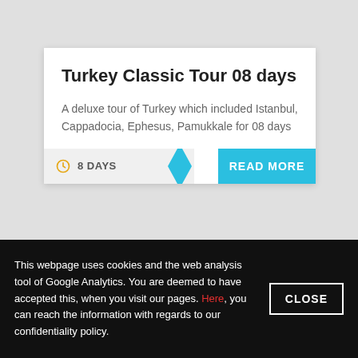Turkey Classic Tour 08 days
A deluxe tour of Turkey which included Istanbul, Cappadocia, Ephesus, Pamukkale for 08 days
8 DAYS
READ MORE
This webpage uses cookies and the web analysis tool of Google Analytics. You are deemed to have accepted this, when you visit our pages. Here, you can reach the information with regards to our confidentiality policy.
CLOSE